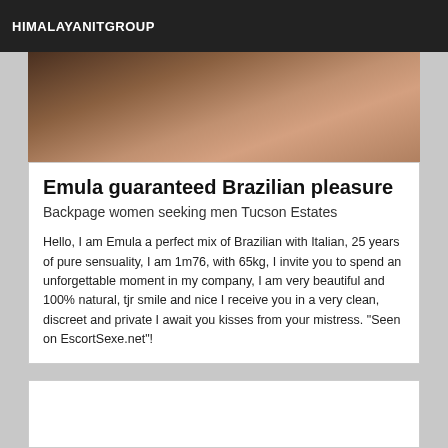HIMALAYANITGROUP
[Figure (photo): Partial photo showing a person's body/legs in dark clothing]
Emula guaranteed Brazilian pleasure
Backpage women seeking men Tucson Estates
Hello, I am Emula a perfect mix of Brazilian with Italian, 25 years of pure sensuality, I am 1m76, with 65kg, I invite you to spend an unforgettable moment in my company, I am very beautiful and 100% natural, tjr smile and nice I receive you in a very clean, discreet and private I await you kisses from your mistress. "Seen on EscortSexe.net"!